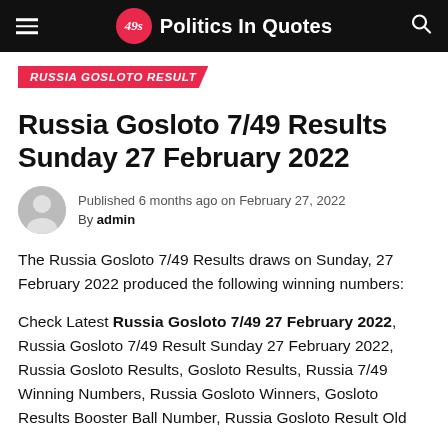49s Politics In Quotes
RUSSIA GOSLOTO RESULT
Russia Gosloto 7/49 Results Sunday 27 February 2022
Published 6 months ago on February 27, 2022
By admin
The Russia Gosloto 7/49 Results draws on Sunday, 27 February 2022 produced the following winning numbers:
Check Latest Russia Gosloto 7/49 27 February 2022, Russia Gosloto 7/49 Result Sunday 27 February 2022, Russia Gosloto Results, Gosloto Results, Russia 7/49 Winning Numbers, Russia Gosloto Winners, Gosloto Results Booster Ball Number, Russia Gosloto Result Old